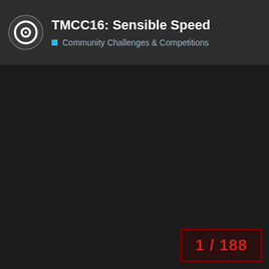TMCC16: Sensible Speed — Community Challenges & Competitions
1 / 188